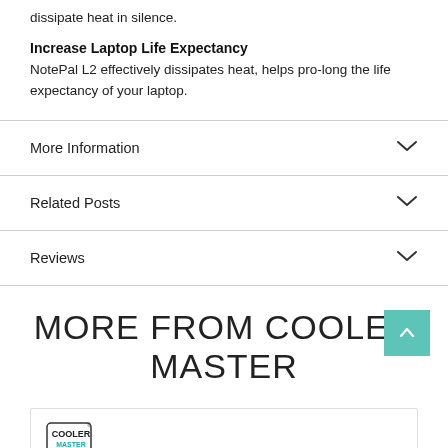dissipate heat in silence.
Increase Laptop Life Expectancy
NotePal L2 effectively dissipates heat, helps pro-long the life expectancy of your laptop.
More Information
Related Posts
Reviews
MORE FROM COOLER MASTER
[Figure (logo): Cooler Master logo]